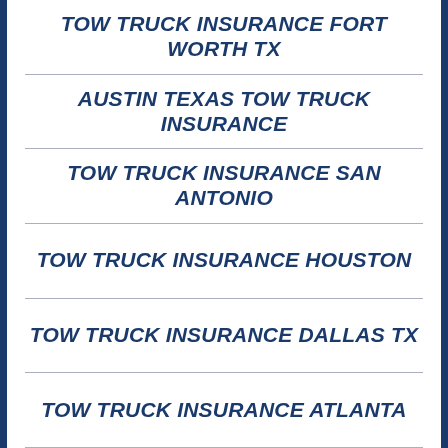TOW TRUCK INSURANCE FORT WORTH TX
AUSTIN TEXAS TOW TRUCK INSURANCE
TOW TRUCK INSURANCE SAN ANTONIO
TOW TRUCK INSURANCE HOUSTON
TOW TRUCK INSURANCE DALLAS TX
TOW TRUCK INSURANCE ATLANTA